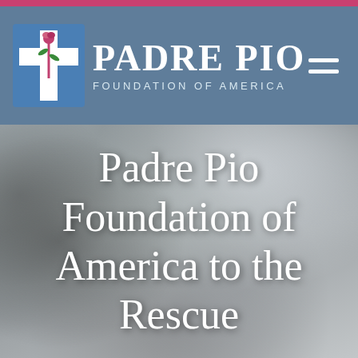[Figure (logo): Padre Pio Foundation of America logo with cross icon, white serif text on steel-blue header bar]
Padre Pio Foundation of America to the Rescue
[Figure (photo): Blurred background photo showing religious/church objects, serving as hero image behind the title text]